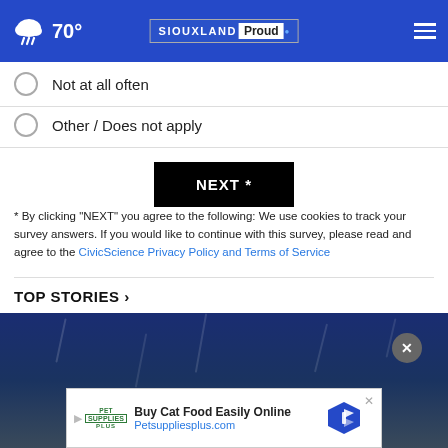70° | SIOUXLAND Proud
Not at all often
Other / Does not apply
NEXT *
* By clicking "NEXT" you agree to the following: We use cookies to track your survey answers. If you would like to continue with this survey, please read and agree to the CivicScience Privacy Policy and Terms of Service
TOP STORIES ›
[Figure (photo): Dark blue/navy rainy scene, likely a road or vehicle in rain at night]
[Figure (other): Advertisement banner: Buy Cat Food Easily Online - Petsuppliesplus.com, with Pet Supplies Plus logo and diamond-shaped navigation icon]